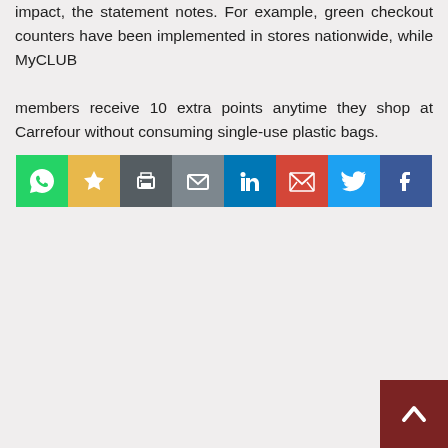impact, the statement notes. For example, green checkout counters have been implemented in stores nationwide, while MyCLUB members receive 10 extra points anytime they shop at Carrefour without consuming single-use plastic bags.
[Figure (other): Social sharing bar with 8 icons: WhatsApp (green), Bookmark/star (gold/yellow), Print (dark gray), Email (gray), LinkedIn (blue), Gmail (red), Twitter (light blue), Facebook (dark blue)]